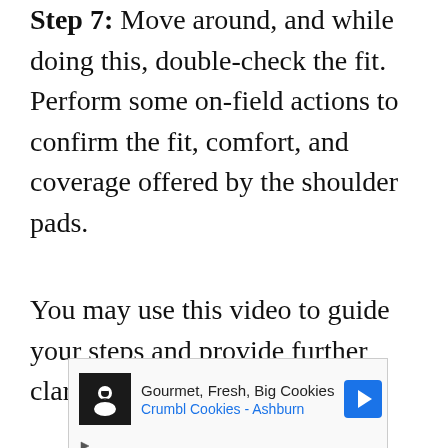Step 7: Move around, and while doing this, double-check the fit. Perform some on-field actions to confirm the fit, comfort, and coverage offered by the shoulder pads.
You may use this video to guide your steps and provide further clarification.
[Figure (screenshot): Advertisement banner for Crumbl Cookies - Ashburn showing logo, text 'Gourmet, Fresh, Big Cookies' and 'Crumbl Cookies - Ashburn', a navigation arrow icon, and ad controls (play and close buttons).]